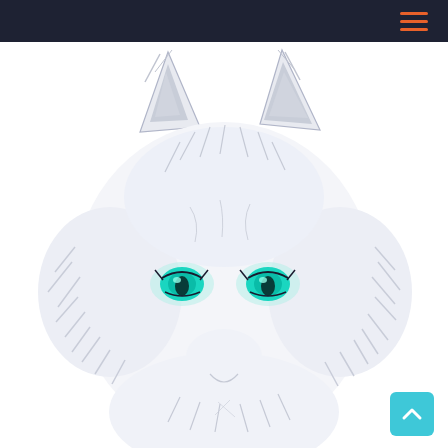Navigation bar with hamburger menu
[Figure (illustration): Anime-style digital illustration of a white wolf/fox with glowing teal/cyan eyes, facing forward. The fur is fluffy and white with detailed line art, ears pointed upward, and a black nose. The background is white.]
[Figure (other): Scroll-to-top button in teal/cyan color with an upward arrow icon, located at the bottom right corner of the page.]